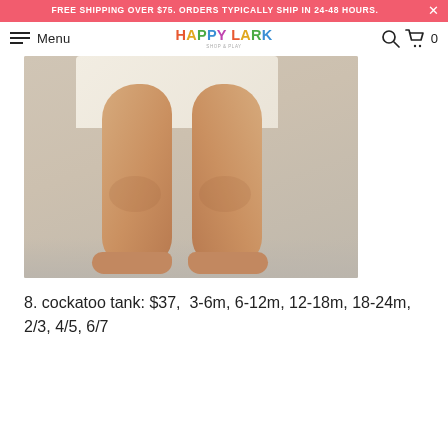FREE SHIPPING OVER $75. ORDERS TYPICALLY SHIP IN 24-48 HOURS.
Menu  HAPPY LARK  0
[Figure (photo): A toddler standing, showing their legs and lower body wearing a light-colored garment with small prints, barefoot on a light floor with a pale wall background.]
8. cockatoo tank: $37,  3-6m, 6-12m, 12-18m, 18-24m, 2/3, 4/5, 6/7